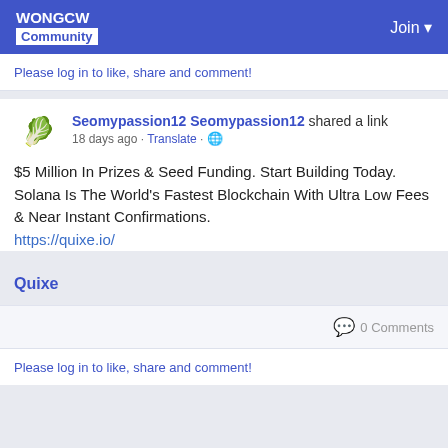WONGCW Community | Join
Please log in to like, share and comment!
Seomypassion12 Seomypassion12 shared a link
18 days ago · Translate · 🌐
$5 Million In Prizes & Seed Funding. Start Building Today. Solana Is The World's Fastest Blockchain With Ultra Low Fees & Near Instant Confirmations.
https://quixe.io/
Quixe
0 Comments
Please log in to like, share and comment!